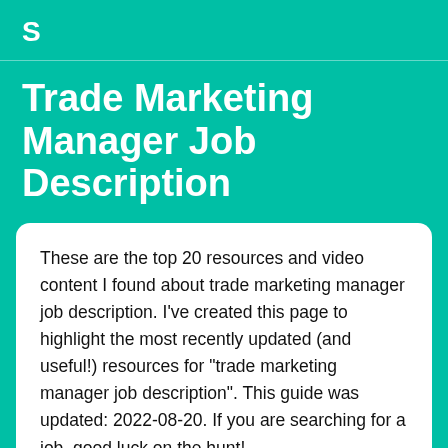S
Trade Marketing Manager Job Description
These are the top 20 resources and video content I found about trade marketing manager job description. I've created this page to highlight the most recently updated (and useful!) resources for "trade marketing manager job description". This guide was updated: 2022-08-20. If you are searching for a job, good luck on the hunt!
- Scott from Sumry.me